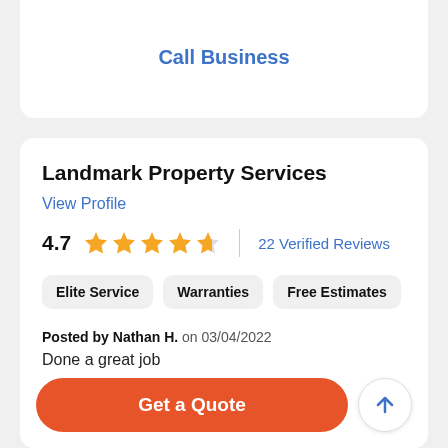Call Business
Landmark Property Services
View Profile
4.7   22 Verified Reviews
Elite Service
Warranties
Free Estimates
Posted by Nathan H. on 03/04/2022
Done a great job
Get a Quote